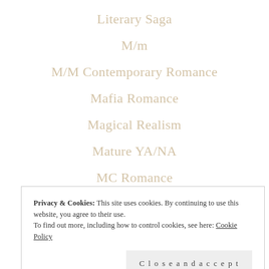Literary Saga
M/m
M/M Contemporary Romance
Mafia Romance
Magical Realism
Mature YA/NA
MC Romance
Memoir
Ménage
Privacy & Cookies: This site uses cookies. By continuing to use this website, you agree to their use. To find out more, including how to control cookies, see here: Cookie Policy
Close and accept
Multicultural Romance